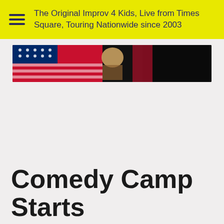The Original Improv 4 Kids, Live from Times Square, Touring Nationwide since 2003
[Figure (photo): Colorful banner image with American flags and performance imagery against a dark background]
Comedy Camp Starts 6/27 Times Square